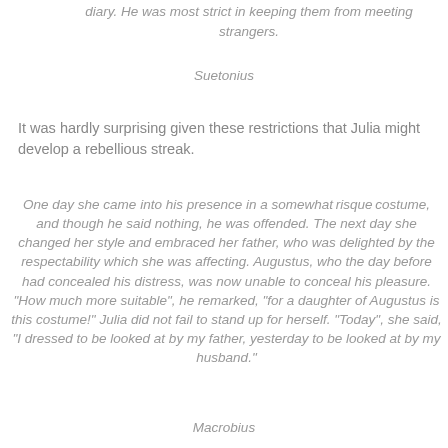diary. He was most strict in keeping them from meeting strangers.
Suetonius
It was hardly surprising given these restrictions that Julia might develop a rebellious streak.
One day she came into his presence in a somewhat risque costume, and though he said nothing, he was offended. The next day she changed her style and embraced her father, who was delighted by the respectability which she was affecting. Augustus, who the day before had concealed his distress, was now unable to conceal his pleasure. "How much more suitable", he remarked, "for a daughter of Augustus is this costume!" Julia did not fail to stand up for herself. "Today", she said, "I dressed to be looked at by my father, yesterday to be looked at by my husband."
Macrobius